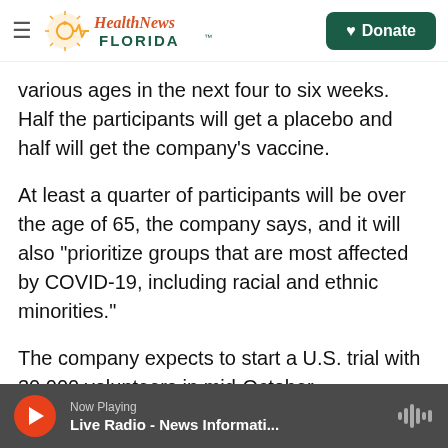Health News Florida — Donate
various ages in the next four to six weeks. Half the participants will get a placebo and half will get the company's vaccine.
At least a quarter of participants will be over the age of 65, the company says, and it will also "prioritize groups that are most affected by COVID-19, including racial and ethnic minorities."
The company expects to start a U.S. trial with 30,000 volunteers in mid-October.
Companies are working to develop vaccines at an unprecedented pace. Many Americans are
Now Playing — Live Radio - News Informati...